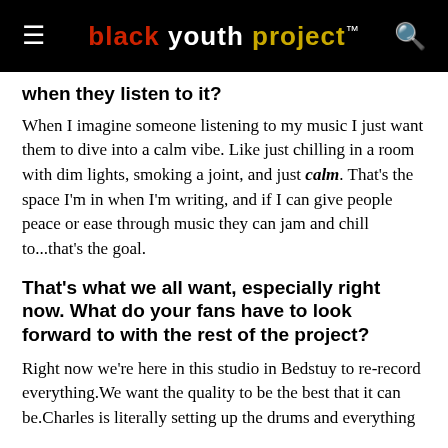black youth project™
when they listen to it?
When I imagine someone listening to my music I just want them to dive into a calm vibe. Like just chilling in a room with dim lights, smoking a joint, and just calm. That's the space I'm in when I'm writing, and if I can give people peace or ease through music they can jam and chill to...that's the goal.
That's what we all want, especially right now. What do your fans have to look forward to with the rest of the project?
Right now we're here in this studio in Bedstuy to re-record everything.We want the quality to be the best that it can be.Charles is literally setting up the drums and everything